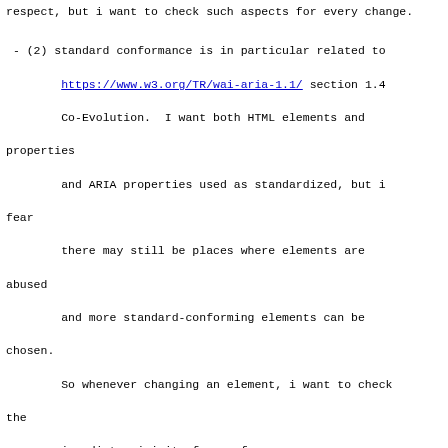respect, but i want to check such aspects for every change.
- (2) standard conformance is in particular related to https://www.w3.org/TR/wai-aria-1.1/ section 1.4 Co-Evolution.  I want both HTML elements and properties and ARIA properties used as standardized, but i fear there may still be places where elements are abused and more standard-conforming elements can be chosen. So whenever changing an element, i want to check the immediate vicinity for conformance.
- (3) consistency implies that if one technique is chosen - respecting simplicity and conformance as described above - at one place, then it should be used throughout for the respective mdoc(7) or man(7) macro or for the respective HTML element.  This is particularly important for languages that are as large as HTML, CSS, and ARIA: They usually provide several different ways to achieve.